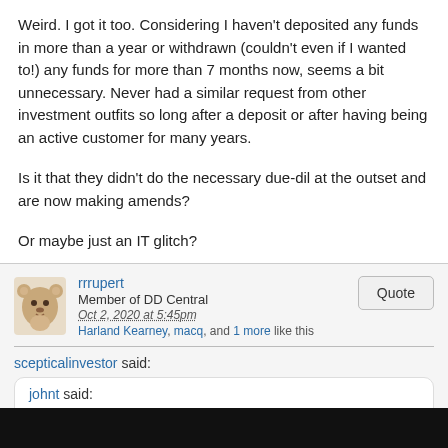Weird. I got it too. Considering I haven't deposited any funds in more than a year or withdrawn (couldn't even if I wanted to!) any funds for more than 7 months now, seems a bit unnecessary. Never had a similar request from other investment outfits so long after a deposit or after having being an active customer for many years.
Is it that they didn't do the necessary due-dil at the outset and are now making amends?
Or maybe just an IT glitch?
rrrupert
Member of DD Central
Oct 2, 2020 at 5:45pm
Harland Kearney, macq, and 1 more like this
scepticalinvestor said:
johnt said:
....................................
Weird. I got it too. Considering I haven't deposited any funds in